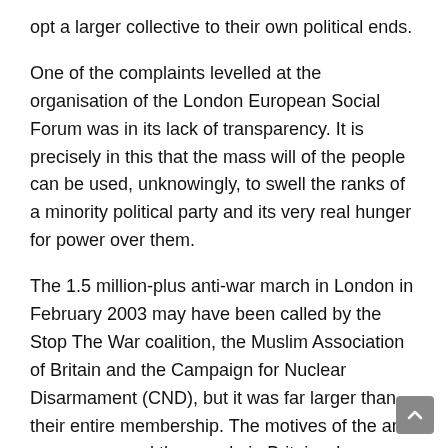opt a larger collective to their own political ends.
One of the complaints levelled at the organisation of the London European Social Forum was in its lack of transparency. It is precisely in this that the mass will of the people can be used, unknowingly, to swell the ranks of a minority political party and its very real hunger for power over them.
The 1.5 million-plus anti-war march in London in February 2003 may have been called by the Stop The War coalition, the Muslim Association of Britain and the Campaign for Nuclear Disarmament (CND), but it was far larger than their entire membership. The motives of the anti-war groups and the people in Britain who opposed the war coincided and so they all converged on London on 15 February with a similar agenda.
It was not the conveners of the Stop The War coalition who